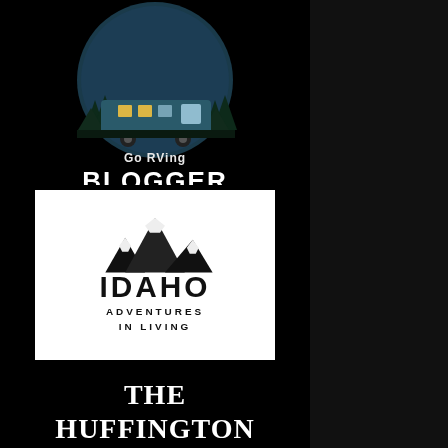[Figure (logo): Go RVing Blogger badge — circular logo with RV and trees at night, text 'Go RVing' inside circle and 'BLOGGER' in large white text below the circle]
[Figure (logo): Idaho Adventures in Living logo — black mountain peaks above bold black text 'IDAHO' and smaller text 'ADVENTURES IN LIVING', on white background box]
[Figure (logo): The Huffington Post logo — white serif text 'THE HUFFINGTON POST' on black background, with partial Huffington Post icon visible at bottom]